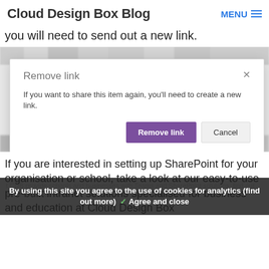Cloud Design Box Blog  MENU
you will need to send out a new link.
[Figure (screenshot): A modal dialog box titled 'Remove link' with the message 'If you want to share this item again, you'll need to create a new link.' and two buttons: 'Remove link' (purple) and 'Cancel' (grey). The background shows a blurred SharePoint interface.]
If you are interested in setting up SharePoint for your organisation or school, take a look at our easy-to-use pre-built intranet solutions specialised for business and education at Cloud Design Box
By using this site you agree to the use of cookies for analytics (find out more) ✓ Agree and close